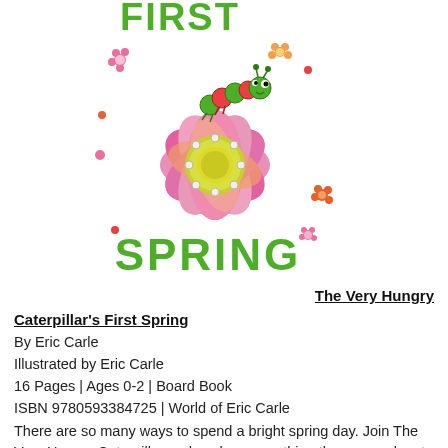[Figure (illustration): Book cover illustration for 'The Very Hungry Caterpillar's First Spring' by Eric Carle, showing a colorful caterpillar, a large pink flower with a yellow center, scattered small flowers and dots, with 'FIRST SPRING' text in green lettering]
The Very Hungry Caterpillar's First Spring
By Eric Carle
Illustrated by Eric Carle
16 Pages | Ages 0-2 | Board Book
ISBN 9780593384725 | World of Eric Carle
There are so many ways to spend a bright spring day. Join The Very Hungry Caterpillar and explore everything the season has to offer! Celebrate spring with The Very Hungry Caterpillar and his friends in this exploration of the